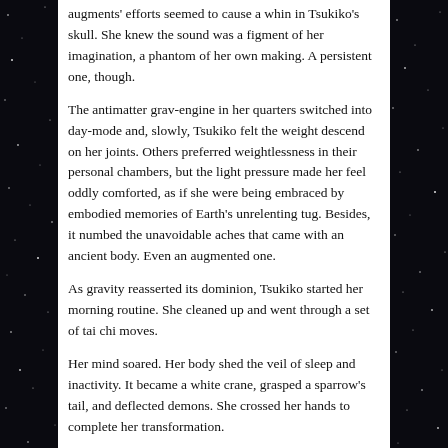augments' efforts seemed to cause a whin in Tsukiko's skull. She knew the sound was a figment of her imagination, a phantom of her own making. A persistent one, though.
The antimatter grav-engine in her quarters switched into day-mode and, slowly, Tsukiko felt the weight descend on her joints. Others preferred weightlessness in their personal chambers, but the light pressure made her feel oddly comforted, as if she were being embraced by embodied memories of Earth's unrelenting tug. Besides, it numbed the unavoidable aches that came with an ancient body. Even an augmented one.
As gravity reasserted its dominion, Tsukiko started her morning routine. She cleaned up and went through a set of tai chi moves.
Her mind soared. Her body shed the veil of sleep and inactivity. It became a white crane, grasped a sparrow's tail, and deflected demons. She crossed her hands to complete her transformation.
She was ready for another day on the ship. As she donned the standard ship coverall, a smooth, androgynous voice filled her